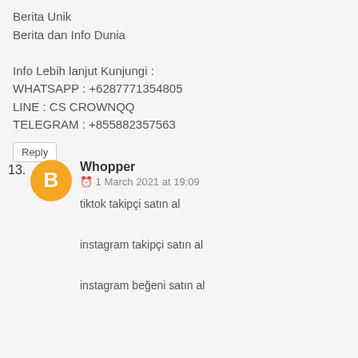Berita Unik
Berita dan Info Dunia

Info Lebih lanjut Kunjungi :
WHATSAPP : +6287771354805
LINE : CS CROWNQQ
TELEGRAM : +855882357563
Reply
13. Whopper
1 March 2021 at 19:09
tiktok takipçi satın al
instagram takipçi satın al
instagram beğeni satın al